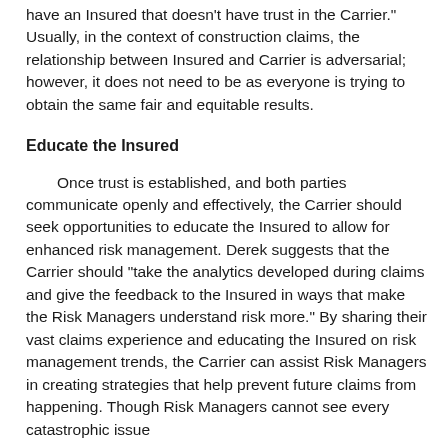have an Insured that doesn't have trust in the Carrier." Usually, in the context of construction claims, the relationship between Insured and Carrier is adversarial; however, it does not need to be as everyone is trying to obtain the same fair and equitable results.
Educate the Insured
Once trust is established, and both parties communicate openly and effectively, the Carrier should seek opportunities to educate the Insured to allow for enhanced risk management. Derek suggests that the Carrier should "take the analytics developed during claims and give the feedback to the Insured in ways that make the Risk Managers understand risk more." By sharing their vast claims experience and educating the Insured on risk management trends, the Carrier can assist Risk Managers in creating strategies that help prevent future claims from happening. Though Risk Managers cannot see every catastrophic issue